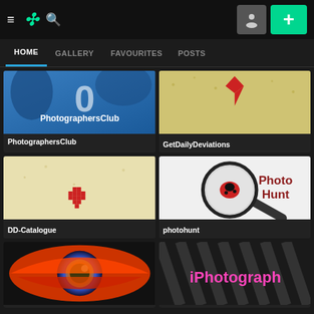[Figure (screenshot): DeviantArt mobile app interface showing navigation bar with hamburger menu, DA logo, search icon, profile button, and plus button]
HOME  GALLERY  FAVOURITES  POSTS
[Figure (screenshot): PhotographersClub group banner - blue background with white text]
[Figure (screenshot): GetDailyDeviations group banner - gold/cream background with red heart]
[Figure (screenshot): DD-Catalogue group banner - cream background with red pixel heart]
[Figure (screenshot): photohunt group banner - magnifying glass over ladybug with Photo Hunt text]
[Figure (screenshot): Colorful eye artwork thumbnail]
[Figure (screenshot): iPhotograph group banner - pink text on striped background]